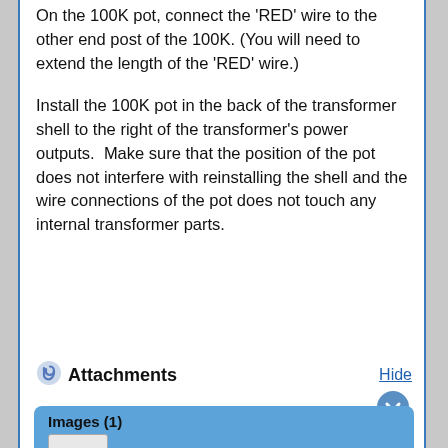On the 100K pot, connect the 'RED' wire to the other end post of the 100K. (You will need to extend the length of the 'RED' wire.)

Install the 100K pot in the back of the transformer shell to the right of the transformer's power outputs.  Make sure that the position of the pot does not interfere with reinstalling the shell and the wire connections of the pot does not touch any internal transformer parts.
Attachments
[Figure (screenshot): Attachments panel with 'Images (1)' section showing a thumbnail placeholder, and a Hide link with a chevron/down arrow button]